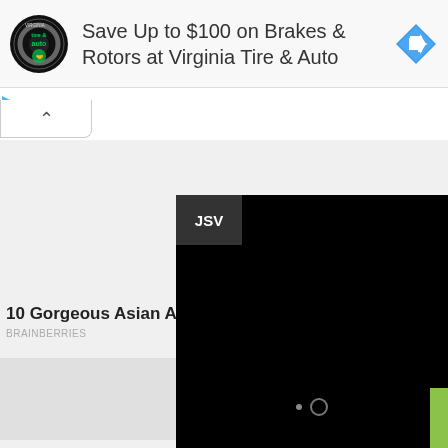[Figure (screenshot): Advertisement banner for Virginia Tire & Auto showing logo, text 'Save Up to $100 on Brakes & Rotors at Virginia Tire & Auto', and a blue navigation direction icon on the right.]
Save Up to $100 on Brakes & Rotors at Virginia Tire & Auto
[Figure (screenshot): Web page UI with collapse/expand tab (caret up), a large light gray content area, a black video player overlay with 'JSV' label, close X button, media dots, and a green accent bar. Below the video is a partially visible teaser card reading '10 Gorgeous Asian A' with source 'BRAINBERRIES' and a gray thumbnail.]
10 Gorgeous Asian A
BRAINBERRIES